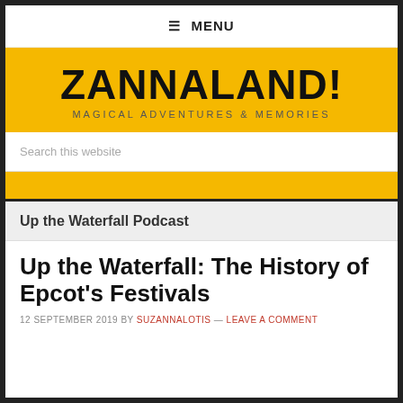≡ MENU
ZANNALAND!
MAGICAL ADVENTURES & MEMORIES
Search this website
Up the Waterfall Podcast
Up the Waterfall: The History of Epcot's Festivals
12 SEPTEMBER 2019 BY SUZANNALOTIS — LEAVE A COMMENT